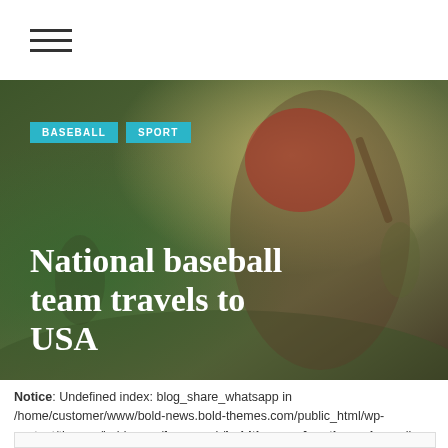☰ (hamburger menu icon)
[Figure (photo): A child baseball player wearing a red helmet, holding a bat in batting stance on a baseball field. Background shows green field and other players. Overlaid with category tags 'BASEBALL' and 'SPORT' and the headline 'National baseball team travels to USA'.]
National baseball team travels to USA
Notice: Undefined index: blog_share_whatsapp in /home/customer/www/bold-news.bold-themes.com/public_html/wp-content/themes/bold-news/framework/boldthemes_functions.php on line 454